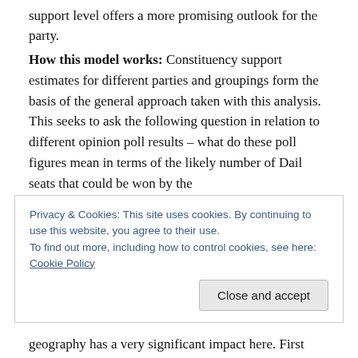support level offers a more promising outlook for the party.
How this model works: Constituency support estimates for different parties and groupings form the basis of the general approach taken with this analysis. This seeks to ask the following question in relation to different opinion poll results – what do these poll figures mean in terms of the likely number of Dail seats that could be won by the
Privacy & Cookies: This site uses cookies. By continuing to use this website, you agree to their use.
To find out more, including how to control cookies, see here: Cookie Policy
Close and accept
geography has a very significant impact here. First